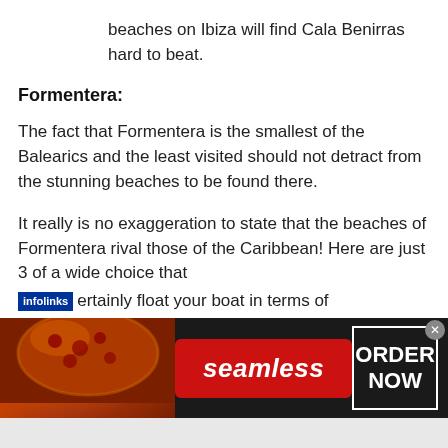beaches on Ibiza will find Cala Benirras hard to beat.
Formentera:
The fact that Formentera is the smallest of the Balearics and the least visited should not detract from the stunning beaches to be found there.
It really is no exaggeration to state that the beaches of Formentera rival those of the Caribbean! Here are just 3 of a wide choice that certainly float your boat in terms of
[Figure (screenshot): Infolinks ad banner for Seamless food ordering service, showing pizza image on the left, a red 'seamless' button in the center, and an 'ORDER NOW' box on the right, on a dark background.]